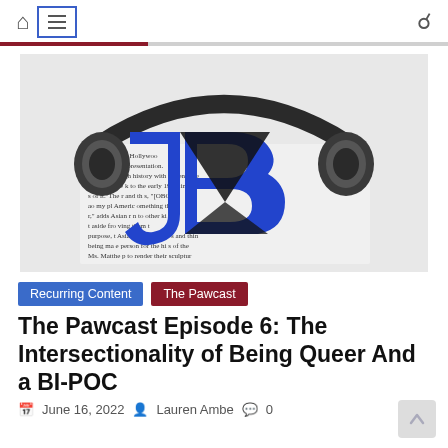Navigation bar with home icon, menu icon, and search icon
[Figure (logo): Podcast logo with headphones over a bold 'JB' lettermark with blue and black styling, newspaper text visible in background]
Recurring Content  The Pawcast
The Pawcast Episode 6: The Intersectionality of Being Queer And a BI-POC
June 16, 2022  Lauren Ambe  0